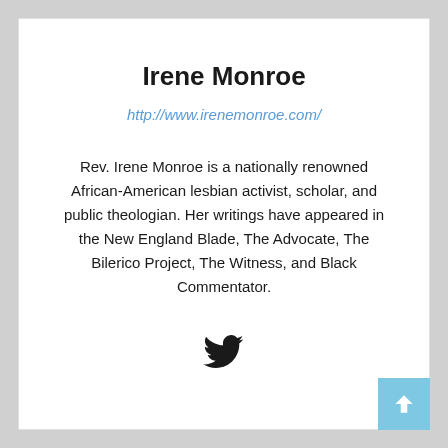Irene Monroe
http://www.irenemonroe.com/
Rev. Irene Monroe is a nationally renowned African-American lesbian activist, scholar, and public theologian. Her writings have appeared in the New England Blade, The Advocate, The Bilerico Project, The Witness, and Black Commentator.
[Figure (illustration): Twitter bird logo icon in black]